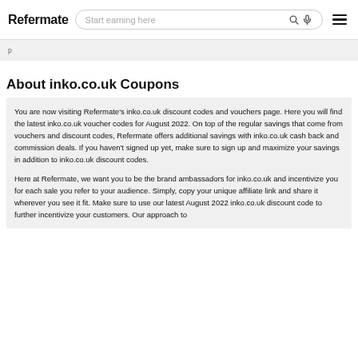Refermate | Start earning here
About inko.co.uk Coupons
You are now visiting Refermate’s inko.co.uk discount codes and vouchers page. Here you will find the latest inko.co.uk voucher codes for August 2022. On top of the regular savings that come from vouchers and discount codes, Refermate offers additional savings with inko.co.uk cash back and commission deals. If you haven’t signed up yet, make sure to sign up and maximize your savings in addition to inko.co.uk discount codes.
Here at Refermate, we want you to be the brand ambassadors for inko.co.uk and incentivize you for each sale you refer to your audience. Simply, copy your unique affiliate link and share it wherever you see it fit. Make sure to use our latest August 2022 inko.co.uk discount code to further incentivize your customers. Our approach to